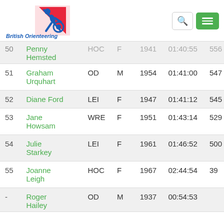[Figure (logo): British Orienteering logo with running figure and text 'British Orienteering']
| # | Name | Club | Gender | Year | Time | Score |
| --- | --- | --- | --- | --- | --- | --- |
| 50 | Penny Hemsted | HOC | F | 1941 | 01:40:55 | 556 |
| 51 | Graham Urquhart | OD | M | 1954 | 01:41:00 | 547 |
| 52 | Diane Ford | LEI | F | 1947 | 01:41:12 | 545 |
| 53 | Jane Howsam | WRE | F | 1951 | 01:43:14 | 529 |
| 54 | Julie Starkey | LEI | F | 1961 | 01:46:52 | 500 |
| 55 | Joanne Leigh | HOC | F | 1967 | 02:44:54 | 39 |
| - | Roger Hailey | OD | M | 1937 | 00:54:53 |  |